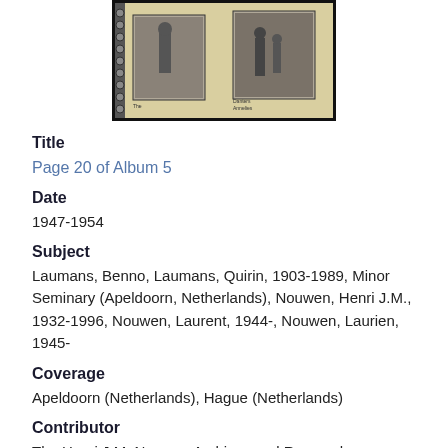[Figure (photo): A photo album open to a page showing black and white photographs of people, with a beige/cream album background and spiral binding visible on the left.]
Title
Page 20 of Album 5
Date
1947-1954
Subject
Laumans, Benno, Laumans, Quirin, 1903-1989, Minor Seminary (Apeldoorn, Netherlands), Nouwen, Henri J.M., 1932-1996, Nouwen, Laurent, 1944-, Nouwen, Laurien, 1945-
Coverage
Apeldoorn (Netherlands), Hague (Netherlands)
Contributor
The Henri J.M. Nouwen Archives and Research Collection